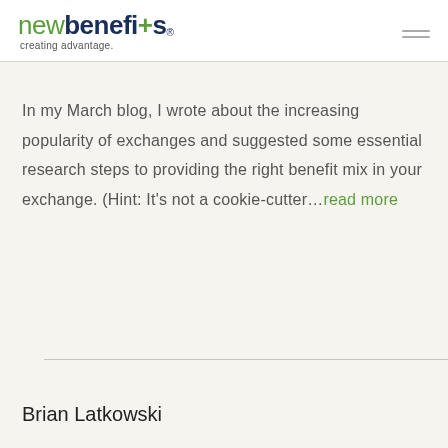new benefits® creating advantage.
In my March blog, I wrote about the increasing popularity of exchanges and suggested some essential research steps to providing the right benefit mix in your exchange. (Hint: It's not a cookie-cutter…read more
Brian Latkowski